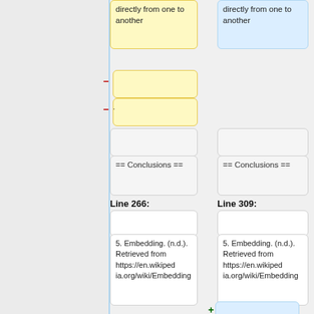directly from one to another
directly from one to another
- (empty box)
- · (empty box)
(empty gray box left)
(empty gray box right)
== Conclusions ==
== Conclusions ==
Line 266:
Line 309:
(empty white box left)
(empty white box right)
5. Embedding. (n.d.). Retrieved from https://en.wikipedia.org/wiki/Embedding
5. Embedding. (n.d.). Retrieved from https://en.wikipedia.org/wiki/Embedding
+ (blue box)